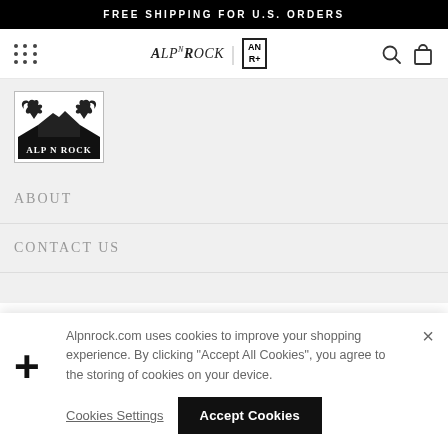FREE SHIPPING FOR U.S. ORDERS
[Figure (logo): ALP N ROCK logo text in nav bar with separator and AN R+ box]
[Figure (logo): ALP N ROCK brand logo with dragon/mountain illustration]
ABOUT
CONTACT US
Alpnrock.com uses cookies to improve your shopping experience. By clicking "Accept All Cookies", you agree to the storing of cookies on your device.
Cookies Settings
Accept Cookies